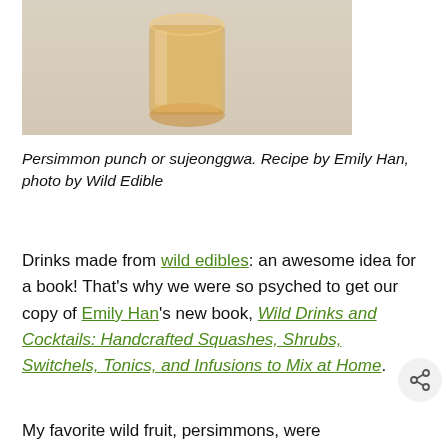[Figure (photo): Photo of a persimmon drink (sujeonggwa) in a glass jar on a light wooden surface, seen from the top portion of the image.]
Persimmon punch or sujeonggwa. Recipe by Emily Han, photo by Wild Edible
Drinks made from wild edibles: an awesome idea for a book! That's why we were so psyched to get our copy of Emily Han's new book, Wild Drinks and Cocktails: Handcrafted Squashes, Shrubs, Switchels, Tonics, and Infusions to Mix at Home.
My favorite wild fruit, persimmons, were